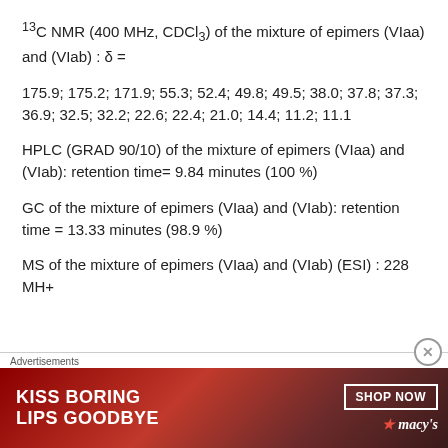13C NMR (400 MHz, CDCl3) of the mixture of epimers (VIaa) and (VIab) : δ =
175.9; 175.2; 171.9; 55.3; 52.4; 49.8; 49.5; 38.0; 37.8; 37.3; 36.9; 32.5; 32.2; 22.6; 22.4; 21.0; 14.4; 11.2; 11.1
HPLC (GRAD 90/10) of the mixture of epimers (VIaa) and (VIab): retention time= 9.84 minutes (100 %)
GC of the mixture of epimers (VIaa) and (VIab): retention time = 13.33 minutes (98.9 %)
MS of the mixture of epimers (VIaa) and (VIab) (ESI) : 228 MH+
[Figure (other): Advertisement banner: KISS BORING LIPS GOODBYE - Macy's cosmetics ad with SHOP NOW button]